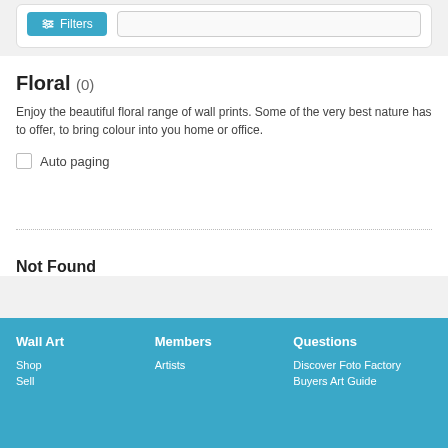[Figure (screenshot): Filters button with teal background and icon, alongside a search/filter input area inside a white rounded box]
Floral (0)
Enjoy the beautiful floral range of wall prints. Some of the very best nature has to offer, to bring colour into you home or office.
Auto paging
Not Found
Wall Art | Members | Questions | Shop | Artists | Discover Foto Factory | Sell | Buyers Art Guide